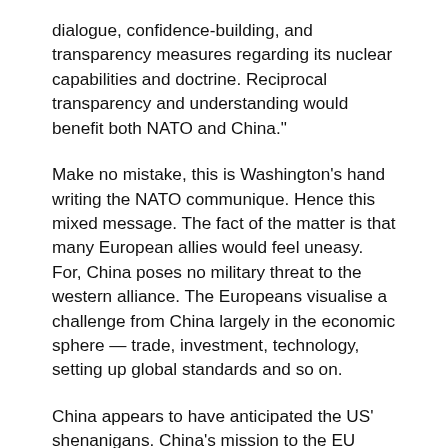dialogue, confidence-building, and transparency measures regarding its nuclear capabilities and doctrine. Reciprocal transparency and understanding would benefit both NATO and China."
Make no mistake, this is Washington's hand writing the NATO communique. Hence this mixed message. The fact of the matter is that many European allies would feel uneasy. For, China poses no military threat to the western alliance. The Europeans visualise a challenge from China largely in the economic sphere — trade, investment, technology, setting up global standards and so on.
China appears to have anticipated the US' shenanigans. China's mission to the EU promptly reacted with facts and figures, pointing out that in 2021, Beijing's military spending stood at $209 billion in comparison with the alliance's $1.17 trillion, which is over half of the entire